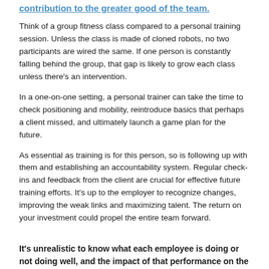contribution to the greater good of the team.
Think of a group fitness class compared to a personal training session. Unless the class is made of cloned robots, no two participants are wired the same. If one person is constantly falling behind the group, that gap is likely to grow each class unless there's an intervention.
In a one-on-one setting, a personal trainer can take the time to check positioning and mobility, reintroduce basics that perhaps a client missed, and ultimately launch a game plan for the future.
As essential as training is for this person, so is following up with them and establishing an accountability system. Regular check-ins and feedback from the client are crucial for effective future training efforts. It's up to the employer to recognize changes, improving the weak links and maximizing talent. The return on your investment could propel the entire team forward.
It's unrealistic to know what each employee is doing or not doing well, and the impact of that performance on the team,